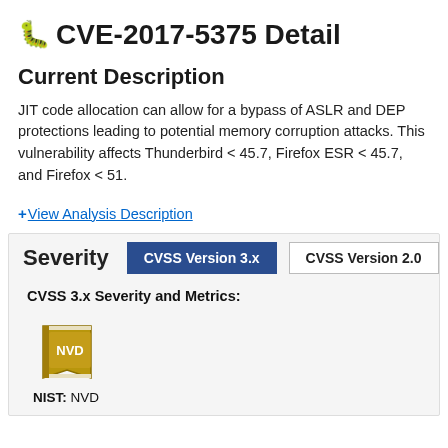CVE-2017-5375 Detail
Current Description
JIT code allocation can allow for a bypass of ASLR and DEP protections leading to potential memory corruption attacks. This vulnerability affects Thunderbird < 45.7, Firefox ESR < 45.7, and Firefox < 51.
+View Analysis Description
Severity
CVSS 3.x Severity and Metrics:
[Figure (logo): NVD logo — a gold book with 'NVD' text]
NIST: NVD